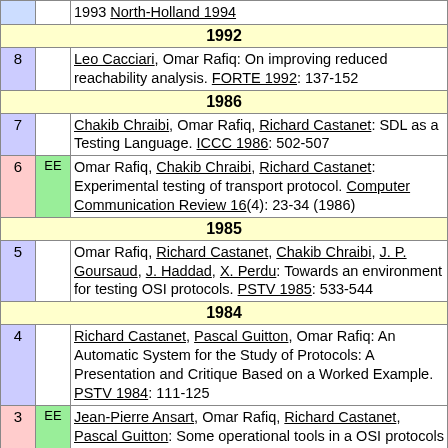| # | EE | Reference |
| --- | --- | --- |
|  |  | 1993 North-Holland 1994 |
| 1992 |  |  |
| 8 |  | Leo Cacciari, Omar Rafiq: On improving reduced reachability analysis. FORTE 1992: 137-152 |
| 1986 |  |  |
| 7 |  | Chakib Chraibi, Omar Rafiq, Richard Castanet: SDL as a Testing Language. ICCC 1986: 502-507 |
| 6 | EE | Omar Rafiq, Chakib Chraibi, Richard Castanet: Experimental testing of transport protocol. Computer Communication Review 16(4): 23-34 (1986) |
| 1985 |  |  |
| 5 |  | Omar Rafiq, Richard Castanet, Chakib Chraibi, J. P. Goursaud, J. Haddad, X. Perdu: Towards an environment for testing OSI protocols. PSTV 1985: 533-544 |
| 1984 |  |  |
| 4 |  | Richard Castanet, Pascal Guitton, Omar Rafiq: An Automatic System for the Study of Protocols: A Presentation and Critique Based on a Worked Example. PSTV 1984: 111-125 |
| 3 | EE | Jean-Pierre Ansart, Omar Rafiq, Richard Castanet, Pascal Guitton: Some operational tools in a OSI protocols study environment. Computer Communication Review 14(2): |